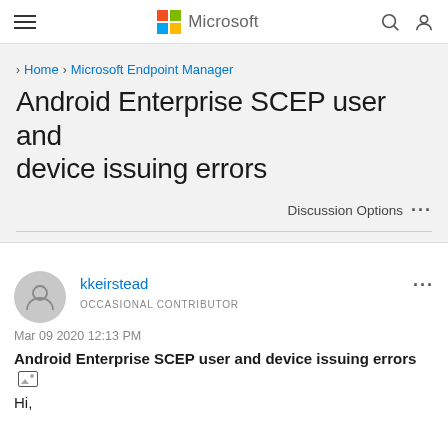Microsoft
> Home > Microsoft Endpoint Manager
Android Enterprise SCEP user and device issuing errors
Discussion Options ...
kkeirstead
OCCASIONAL CONTRIBUTOR
Mar 09 2020 12:13 PM
Android Enterprise SCEP user and device issuing errors
Hi,